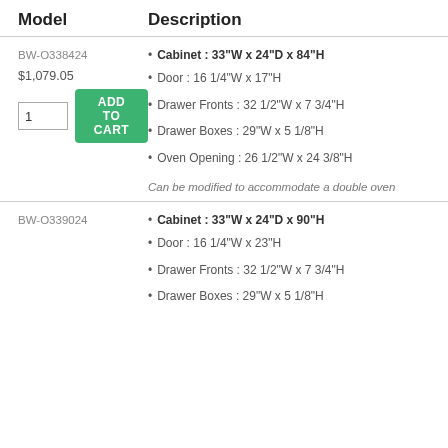| Model | Description |
| --- | --- |
| BW-O338424 | • Cabinet : 33"W x 24"D x 84"H
• Door : 16 1/4"W x 17"H
• Drawer Fronts : 32 1/2"W x 7 3/4"H
• Drawer Boxes : 29"W x 5 1/8"H
• Oven Opening : 26 1/2"W x 24 3/8"H
Can be modified to accommodate a double oven
$1,079.05 |
| BW-O339024 | • Cabinet : 33"W x 24"D x 90"H
• Door : 16 1/4"W x 23"H
• Drawer Fronts : 32 1/2"W x 7 3/4"H
• Drawer Boxes : 29"W x 5 1/8"H |